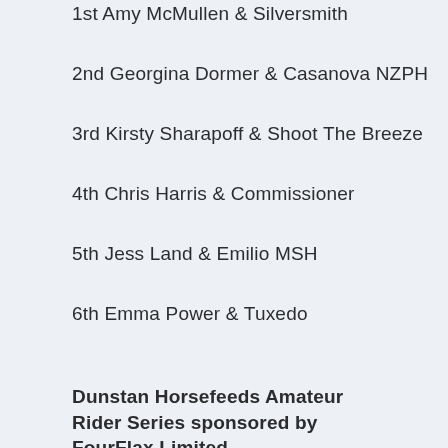1st Amy McMullen & Silversmith
2nd Georgina Dormer & Casanova NZPH
3rd Kirsty Sharapoff & Shoot The Breeze
4th Chris Harris & Commissioner
5th Jess Land & Emilio MSH
6th Emma Power & Tuxedo
Dunstan Horsefeeds Amateur Rider Series sponsored by FourFlax Limited
1st Kelly Evans & Hammertime
2nd Nikki McLennan & Rocky Ridge
3rd Emma Pilcher & Snazzy As